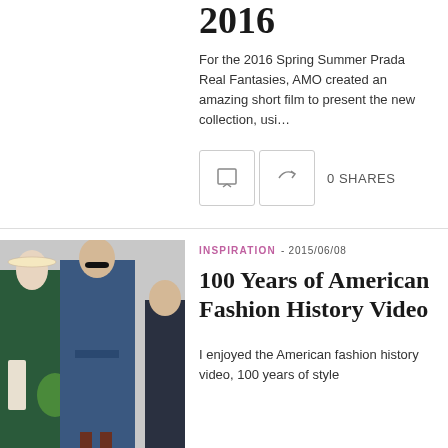2016
For the 2016 Spring Summer Prada Real Fantasies, AMO created an amazing short film to present the new collection, usi...
0 SHARES
[Figure (photo): Fashion photo showing models in dark green wrap dress and denim wide-leg jumpsuit with belt]
INSPIRATION - 2015/06/08
100 Years of American Fashion History Video
I enjoyed the American fashion history video, 100 years of style